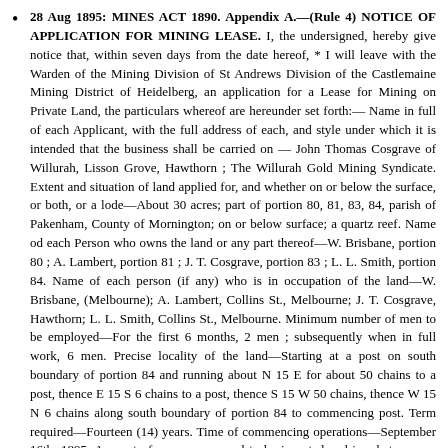28 Aug 1895: MINES ACT 1890. Appendix A.—(Rule 4) NOTICE OF APPLICATION FOR MINING LEASE. I, the undersigned, hereby give notice that, within seven days from the date hereof, * I will leave with the Warden of the Mining Division of St Andrews Division of the Castlemaine Mining District of Heidelberg, an application for a Lease for Mining on Private Land, the particulars whereof are hereunder set forth:— Name in full of each Applicant, with the full address of each, and style under which it is intended that the business shall be carried on — John Thomas Cosgrave of Willurah, Lisson Grove, Hawthorn ; The Willurah Gold Mining Syndicate. Extent and situation of land applied for, and whether on or below the surface, or both, or a lode—About 30 acres; part of portion 80, 81, 83, 84, parish of Pakenham, County of Mornington; on or below surface; a quartz reef. Name od each Person who owns the land or any part thereof—W. Brisbane, portion 80 ; A. Lambert, portion 81 ; J. T. Cosgrave, portion 83 ; L. L. Smith, portion 84. Name of each person (if any) who is in occupation of the land—W. Brisbane, (Melbourne); A. Lambert, Collins St., Melbourne; J. T. Cosgrave, Hawthorn; L. L. Smith, Collins St., Melbourne. Minimum number of men to be employed—For the first 6 months, 2 men ; subsequently when in full work, 6 men. Precise locality of the land—Starting at a post on south boundary of portion 84 and running about N 15 E for about 50 chains to a post, thence E 15 S 6 chains to a post, thence S 15 W 50 chains, thence W 15 N 6 chains along south boundary of portion 84 to commencing post. Term required—Fourteen (14) years. Time of commencing operations—September 16th, 1895. Amount of money proposed to be invested and in what manner the land is to be worked—£500; sinking and prospecting for a gold bearing quartz lode. Whether the boundaries of the land applied for will include any river, creek, deposit of permanent water, spring, artificial reservoir, public roads, or subject to any public rights—None; except 6 chains of a public road on northern